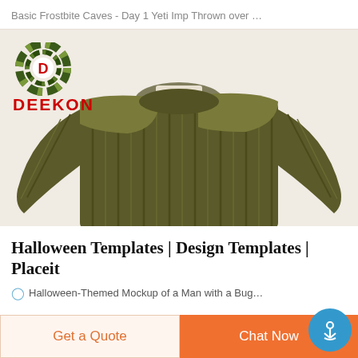Basic Frostbite Caves - Day 1 Yeti Imp Thrown over …
[Figure (photo): Olive green ribbed military-style crewneck sweater with shoulder patches, displayed on a light beige background, with Deekon logo (circular camouflage-pattern emblem and red DEEKON text) overlaid in upper left.]
Halloween Templates | Design Templates | Placeit
Halloween-Themed Mockup of a Man with a Bug…
Get a Quote
Chat Now